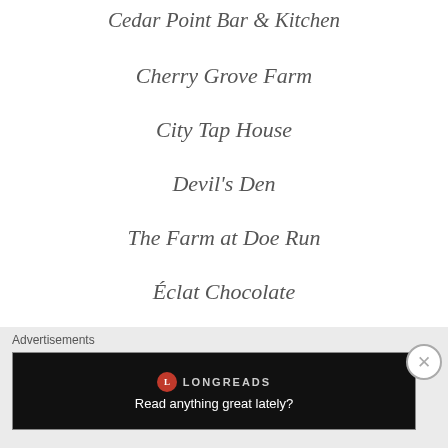Cedar Point Bar & Kitchen
Cherry Grove Farm
City Tap House
Devil's Den
The Farm at Doe Run
Éclat Chocolate
El Camino Real
Epic Pickles
Advertisements
[Figure (other): Longreads advertisement banner: logo with red circle 'L', brand name LONGREADS, tagline 'Read anything great lately?']